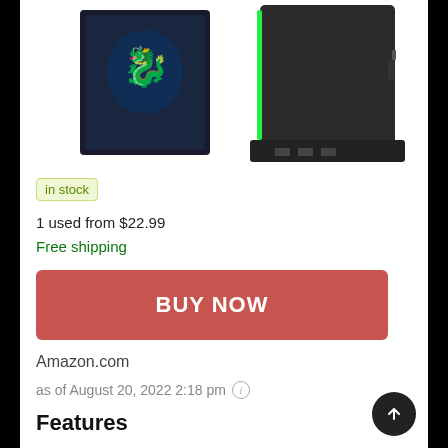[Figure (photo): Product images: a dark gaming hard drive with blue dragon logo on the left, and a black vertical stand/dock with green LED strip on the right]
in stock
1 used from $22.99
Free shipping
BUY NOW
Amazon.com
as of August 20, 2022 2:18 pm
Features
3 IN 1 FUNCTIONS – Vertical Stand